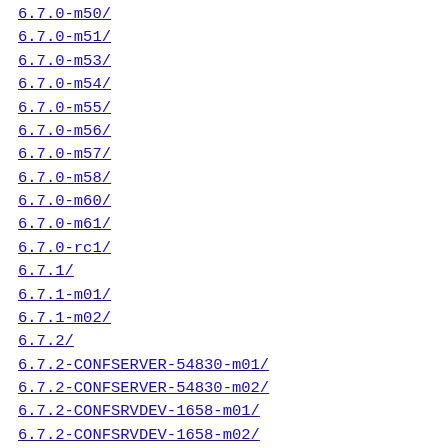6.7.0-m50/
6.7.0-m51/
6.7.0-m53/
6.7.0-m54/
6.7.0-m55/
6.7.0-m56/
6.7.0-m57/
6.7.0-m58/
6.7.0-m60/
6.7.0-m61/
6.7.0-rc1/
6.7.1/
6.7.1-m01/
6.7.1-m02/
6.7.2/
6.7.2-CONFSERVER-54830-m01/
6.7.2-CONFSERVER-54830-m02/
6.7.2-CONFSRVDEV-1658-m01/
6.7.2-CONFSRVDEV-1658-m02/
6.7.3/
6.7.4-m01/
6.7.4-m2/
6.8.0/
6.8.0-asynccaches-m01/
6.8.0-beta1/
6.8.0-CONFSERVER-5474-m01/
6.8.0-CONFSRVDEV-3994-m01/
6.8.0-CONFSRVDEV-4557-m01/
6.8.0-CONFSRVDEV-5909-m02/
6.8.0-hzupgrade-m01/
6.8.0-hzupgrade-m02/